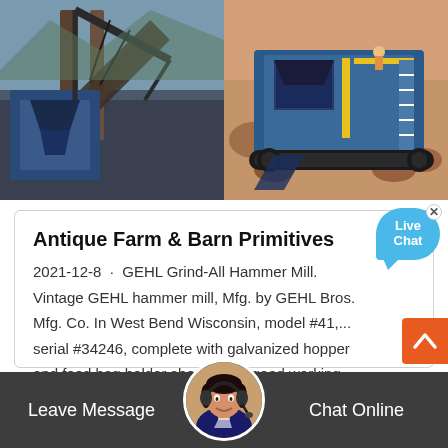[Figure (photo): Two side-by-side industrial/mining equipment photos. Left: large industrial conveyor/hammer mill structure in blue. Right: blue mobile rock crusher/jaw crusher on tracks in a rocky quarry setting.]
Antique Farm & Barn Primitives
2021-12-8 · GEHL Grind-All Hammer Mill. Vintage GEHL hammer mill, Mfg. by GEHL Bros. Mfg. Co. In West Bend Wisconsin, model #41,... serial #34246, complete with galvanized hopper and feed bag holder shoot. All in good working ...
[Figure (illustration): Live Chat speech bubble icon in blue/cyan]
[Figure (photo): Agent/support person avatar with headset, circular photo]
Leave Message
Chat Online